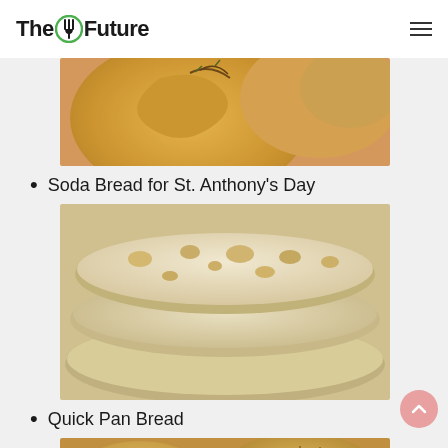The Future
[Figure (photo): Photo of soda bread with herbs on top, golden-brown crust, on a wooden surface with rosemary]
Soda Bread for St. Anthony’s Day
[Figure (photo): Photo of stacked flatbreads (naan or similar pan bread), pale and pillowy with golden spots]
Quick Pan Bread
[Figure (photo): Photo of decorative scored bread rolls with dimpled pattern, golden-brown, sprinkled with herbs]